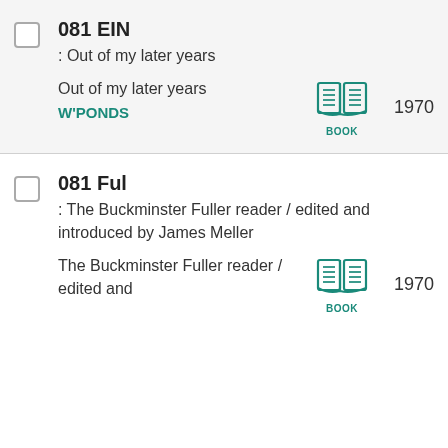081 EIN : Out of my later years — Out of my later years W'PONDS BOOK 1970
081 Ful : The Buckminster Fuller reader / edited and introduced by James Meller — The Buckminster Fuller reader / edited and BOOK 1970